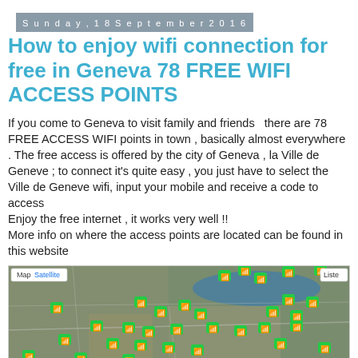Sunday, 18 September 2016
How to enjoy wifi connection for free in Geneva 78 FREE WIFI ACCESS POINTS
If you come to Geneva to visit family and friends  there are 78 FREE ACCESS WIFI points in town , basically almost everywhere . The free access is offered by the city of Geneva , la Ville de Geneve ; to connect it's quite easy , you just have to select the Ville de Geneve wifi, input your mobile and receive a code to access
Enjoy the free internet , it works very well !!
More info on where the access points are located can be found in this website
[Figure (map): Satellite map of Geneva showing numerous green wifi access point markers distributed across the city, with a map/satellite toggle and list button visible.]